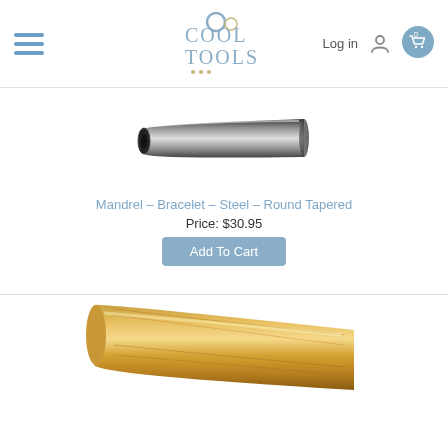[Figure (logo): Cool Tools logo — stylized text with rings]
[Figure (photo): Steel round tapered bracelet mandrel — shiny metallic cylindrical tube]
Mandrel – Bracelet – Steel – Round Tapered
Price: $30.95
Add To Cart
[Figure (photo): Wooden bracelet mandrel — light honey-colored wood, cylindrical, partially visible at bottom of page]